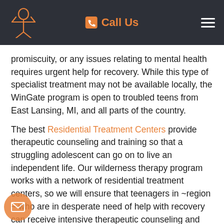Call Us
promiscuity, or any issues relating to mental health requires urgent help for recovery. While this type of specialist treatment may not be available locally, the WinGate program is open to troubled teens from East Lansing, MI, and all parts of the country.
The best Residential Treatment Centers provide therapeutic counseling and training so that a struggling adolescent can go on to live an independent life. Our wilderness therapy program works with a network of residential treatment centers, so we will ensure that teenagers in ~region ~ who are in desperate need of help with recovery can receive intensive therapeutic counseling and long-term support.